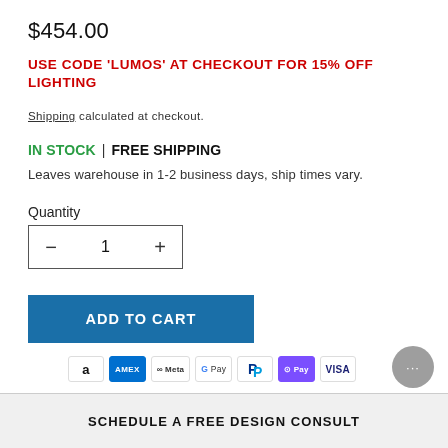$454.00
USE CODE 'LUMOS' AT CHECKOUT FOR 15% OFF LIGHTING
Shipping calculated at checkout.
IN STOCK | FREE SHIPPING
Leaves warehouse in 1-2 business days, ship times vary.
Quantity
1
ADD TO CART
[Figure (other): Payment method icons: Amazon, Amex, Meta, Google Pay, PayPal, ShopPay, Visa]
SCHEDULE A FREE DESIGN CONSULT